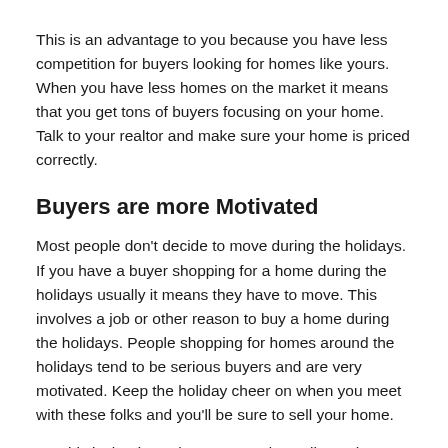This is an advantage to you because you have less competition for buyers looking for homes like yours. When you have less homes on the market it means that you get tons of buyers focusing on your home. Talk to your realtor and make sure your home is priced correctly.
Buyers are more Motivated
Most people don't decide to move during the holidays. If you have a buyer shopping for a home during the holidays usually it means they have to move. This involves a job or other reason to buy a home during the holidays. People shopping for homes around the holidays tend to be serious buyers and are very motivated. Keep the holiday cheer on when you meet with these folks and you'll be sure to sell your home.
But this is the time when you need to sell your home...